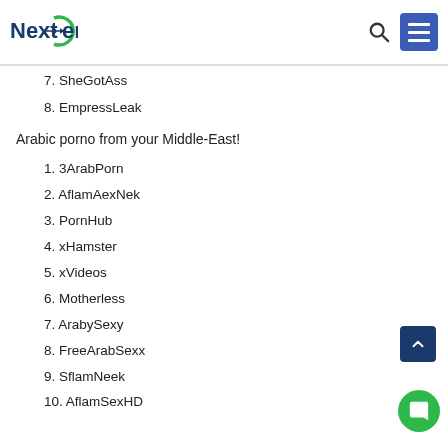NextGen
7. SheGotAss
8. EmpressLeak
Arabic porno from your Middle-East!
1. 3ArabPorn
2. AflamAexNek
3. PornHub
4. xHamster
5. xVideos
6. Motherless
7. ArabySexy
8. FreeArabSexx
9. SflamNeek
10. AflamSexHD